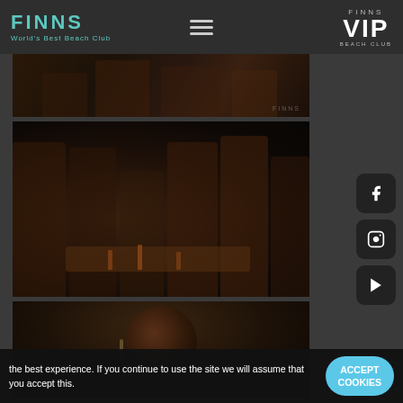FINNS World's Best Beach Club | FINNS VIP BEACH CLUB
[Figure (photo): Top photo strip showing people at a nightclub/beach club, partially cropped, dark lighting with FINNS watermark]
[Figure (photo): Group photo of several young women and a man seated around a table at Finns Beach Club, dark ambient lighting]
[Figure (photo): Partially visible photo of a woman's face, dark background, bottom strip]
the best experience. If you continue to use the site we will assume that you accept this.
ACCEPT COOKIES